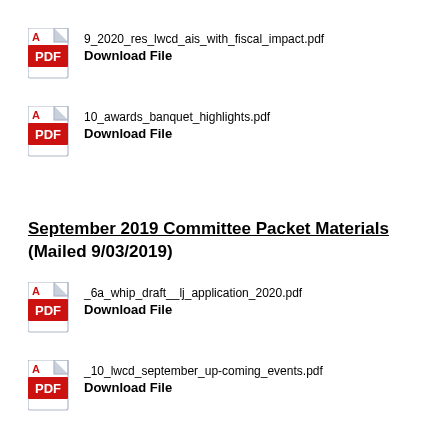9_2020_res_lwcd_ais_with_fiscal_impact.pdf
Download File
10_awards_banquet_highlights.pdf
Download File
September 2019 Committee Packet Materials (Mailed 9/03/2019)
_6a_whip_draft__lj_application_2020.pdf
Download File
_10_lwcd_september_up-coming_events.pdf
Download File